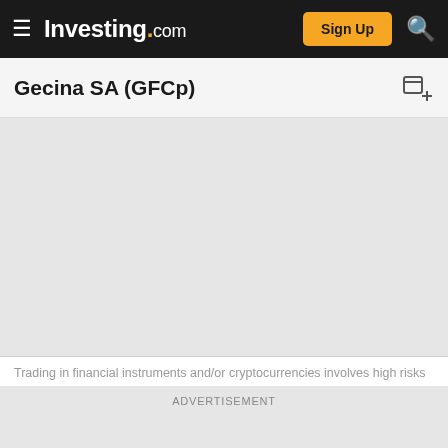Investing.com
Gecina SA (GFCp)
[Figure (other): Empty chart area / loading placeholder for Gecina SA (GFCp) stock chart]
Trading in financial instruments and/or cryptocurrencies involves high risks
ADVERTISEMENT